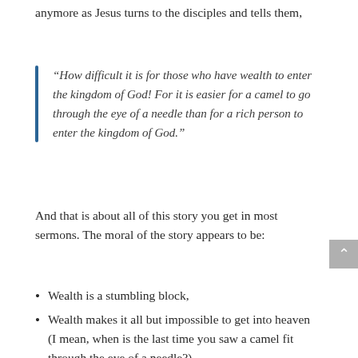anymore as Jesus turns to the disciples and tells them,
“How difficult it is for those who have wealth to enter the kingdom of God! For it is easier for a camel to go through the eye of a needle than for a rich person to enter the kingdom of God.”
And that is about all of this story you get in most sermons. The moral of the story appears to be:
Wealth is a stumbling block,
Wealth makes it all but impossible to get into heaven (I mean, when is the last time you saw a camel fit through the eye of a needle?),